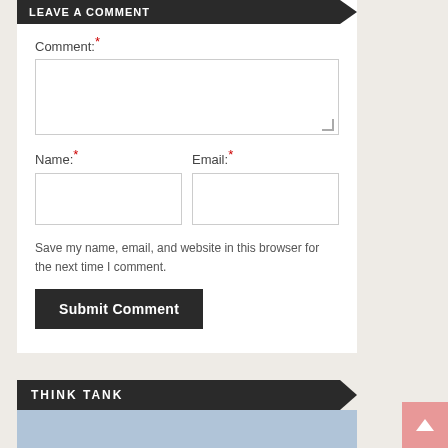LEAVE A COMMENT
Comment: *
Name: *
Email: *
Save my name, email, and website in this browser for the next time I comment.
Submit Comment
THINK TANK